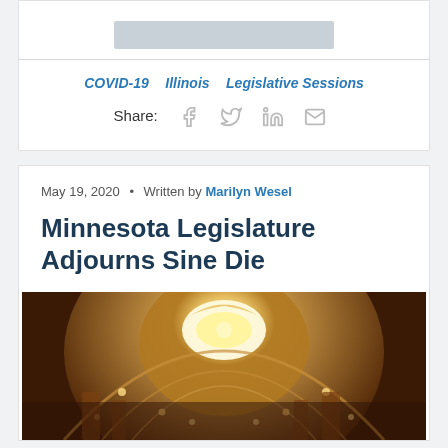[Figure (other): Gray placeholder image block]
COVID-19   Illinois   Legislative Sessions
Share: [facebook] [twitter] [linkedin] [email]
May 19, 2020  •  Written by Marilyn Wesel
Minnesota Legislature Adjourns Sine Die
[Figure (photo): Interior photo of a capitol building dome ceiling with ornate architecture and warm golden lighting]